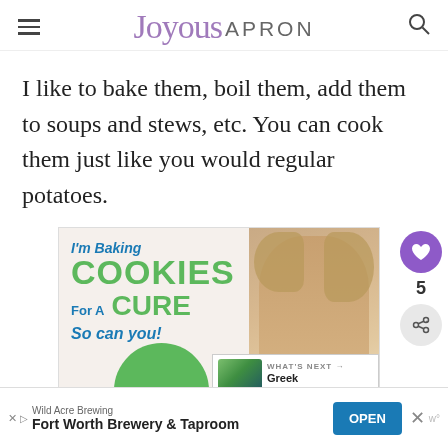Joyous APRON
I like to bake them, boil them, add them to soups and stews, etc. You can cook them just like you would regular potatoes.
[Figure (infographic): Advertisement banner for 'Baking COOKIES For A CURE - So can you!' featuring a smiling girl with a cookie. Below it, a 'WHAT'S NEXT' panel showing Greek Cucumber... with a food image. Sidebar shows a heart button, count of 5, and share button.]
[Figure (infographic): Bottom banner advertisement for Wild Acre Brewing - Fort Worth Brewery & Taproom with an OPEN button.]